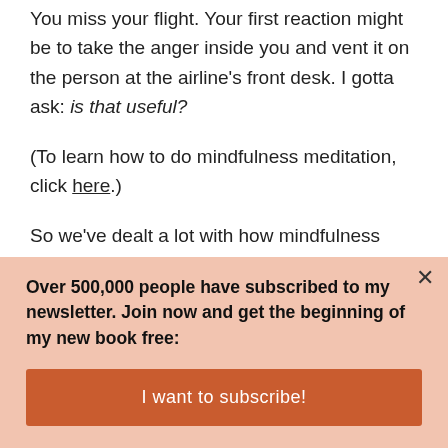You miss your flight. Your first reaction might be to take the anger inside you and vent it on the person at the airline's front desk. I gotta ask: is that useful?
(To learn how to do mindfulness meditation, click here.)
So we've dealt a lot with how mindfulness helps you cope with the negative. Enough defense. Time for some offense. How does mindfulness boost happiness?
Over 500,000 people have subscribed to my newsletter. Join now and get the beginning of my new book free:
I want to subscribe!